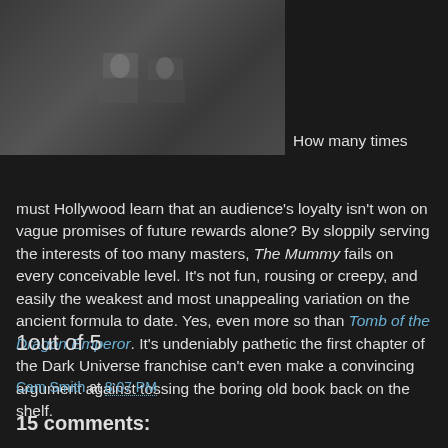[Figure (photo): Two people in an outdoor scene, appears to be a movie still from The Mummy]
How many times must Hollywood learn that an audience's loyalty isn't won on vague promises of future rewards alone? By sloppily serving the interests of too many masters, The Mummy fails on every conceivable level. It's not fun, rousing or creepy, and easily the weakest and most unappealing variation on the ancient formula to date. Yes, even more so than Tomb of the Dragon Emperor. It's undeniably pathetic the first chapter of the Dark Universe franchise can't even make a convincing argument against tossing the boring old book back on the shelf.
1out of 5
Cam Smith at 8:07 PM
15 comments: